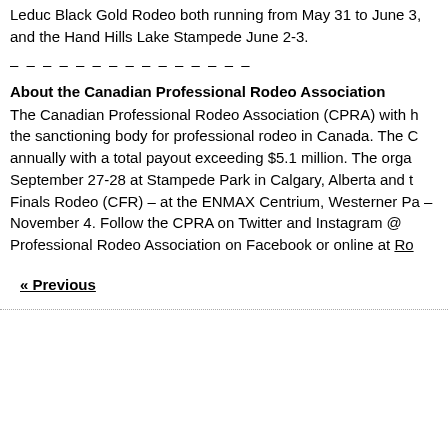Leduc Black Gold Rodeo both running from May 31 to June 3, and the Hand Hills Lake Stampede June 2-3.
– – – – – – – – – – – – – – –
About the Canadian Professional Rodeo Association
The Canadian Professional Rodeo Association (CPRA) with h the sanctioning body for professional rodeo in Canada. The C annually with a total payout exceeding $5.1 million. The orga September 27-28 at Stampede Park in Calgary, Alberta and t Finals Rodeo (CFR) – at the ENMAX Centrium, Westerner Pa – November 4. Follow the CPRA on Twitter and Instagram @ Professional Rodeo Association on Facebook or online at Ro
« Previous